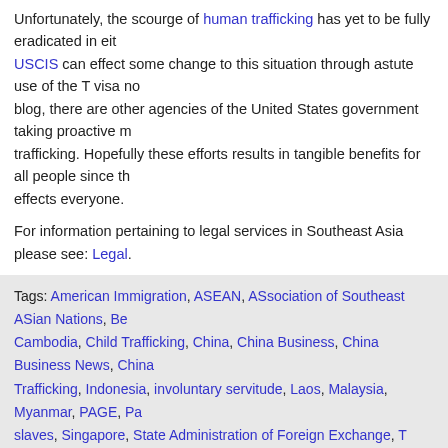Unfortunately, the scourge of human trafficking has yet to be fully eradicated in either country. USCIS can effect some change to this situation through astute use of the T visa noted in this blog, there are other agencies of the United States government taking proactive measures to end trafficking. Hopefully these efforts results in tangible benefits for all people since the problem effects everyone.
For information pertaining to legal services in Southeast Asia please see: Legal.
Tags: American Immigration, ASEAN, ASsociation of Southeast ASian Nations, Be... Cambodia, Child Trafficking, China, China Business, China Business News, China... Trafficking, Indonesia, involuntary servitude, Laos, Malaysia, Myanmar, PAGE, Pa... slaves, Singapore, State Administration of Foreign Exchange, T visa, Thailand, U.S... States Citizenship and Immigration Service, USCIS, Vietnam
Posted in ASEAN Business, Cambodia Business, China Business, India Business... Business, Myanmar (Burma) Business, News, Russia Business, South Africa Busi... USCIS, Vietnam Business | No Comments »